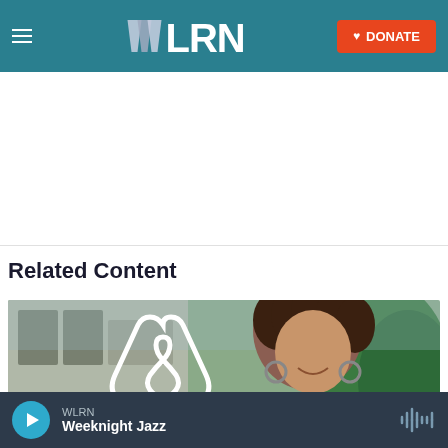WLRN | DONATE
Related Content
[Figure (photo): Airbnb logo with a smiling woman with curly hair in the background, outdoors]
WLRN Weeknight Jazz